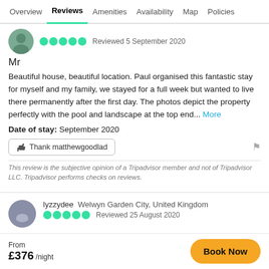Overview | Reviews | Amenities | Availability | Map | Policies
[Figure (photo): Reviewer avatar - circular profile photo with green background]
Reviewed 5 September 2020
Mr
Beautiful house, beautiful location. Paul organised this fantastic stay for myself and my family, we stayed for a full week but wanted to live there permanently after the first day. The photos depict the property perfectly with the pool and landscape at the top end... More
Date of stay: September 2020
Thank matthewgoodlad
This review is the subjective opinion of a Tripadvisor member and not of Tripadvisor LLC. Tripadvisor performs checks on reviews.
[Figure (photo): Second reviewer avatar - circular profile photo]
lyzzydee Welwyn Garden City, United Kingdom
Reviewed 25 August 2020
From £376 /night
Book Now